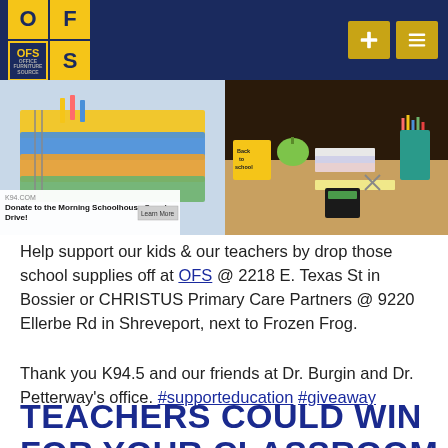[Figure (screenshot): OFS logo grid with gold and navy squares showing O, F, OFS logo, S letters in a 2x2 grid. Navigation buttons with plus and menu icons on the right.]
[Figure (photo): Two side-by-side photos of school supplies: left shows stacked notebooks and a K94.5 donate banner at bottom; right shows back to school supplies with apple, pencils, ruler, calculator, and colorful stationery.]
Help support our kids & our teachers by drop those school supplies off at OFS @ 2218 E. Texas St in Bossier or CHRISTUS Primary Care Partners @ 9220 Ellerbe Rd in Shreveport, next to Frozen Frog.
Thank you K94.5 and our friends at Dr. Burgin and Dr. Petterway's office. #supporteducation #giveaway
TEACHERS COULD WIN FOR YOUR CLASSROOM